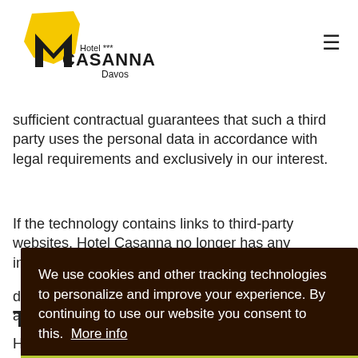[Figure (logo): Hotel Casanna Davos logo with yellow abstract shape and black M letter mark, text reading Hotel *** CASANNA Davos]
sufficient contractual guarantees that such a third party uses the personal data in accordance with legal requirements and exclusively in our interest.
If the technology contains links to third-party websites, Hotel Casanna no longer has any influence on the co... da... as...
T...
Ho... da... abroad if this is necessary for the data processing
We use cookies and other tracking technologies to personalize and improve your experience. By continuing to use our website you consent to this. More info
allow cookies